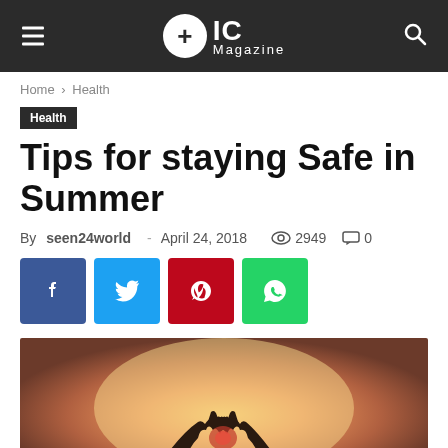+IC Magazine
Home › Health
Health
Tips for staying Safe in Summer
By seen24world - April 24, 2018  2949  0
[Figure (other): Social share buttons: Facebook, Twitter, Pinterest, WhatsApp]
[Figure (photo): Hands forming a heart shape silhouetted against a warm sunset sky]